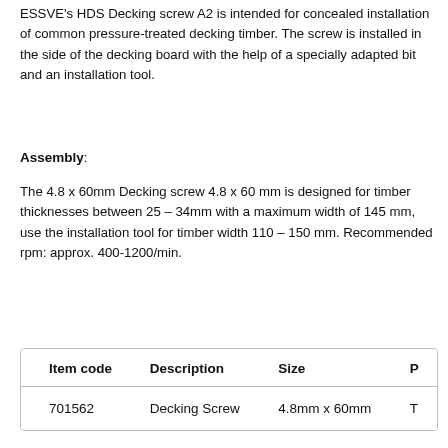ESSVE's HDS Decking screw A2 is intended for concealed installation of common pressure-treated decking timber. The screw is installed in the side of the decking board with the help of a specially adapted bit and an installation tool.
Assembly:
The 4.8 x 60mm Decking screw 4.8 x 60 mm is designed for timber thicknesses between 25 – 34mm with a maximum width of 145 mm, use the installation tool for timber width 110 – 150 mm. Recommended rpm: approx. 400-1200/min.
| Item code | Description | Size |  |
| --- | --- | --- | --- |
| 701562 | Decking Screw | 4.8mm x 60mm | T |